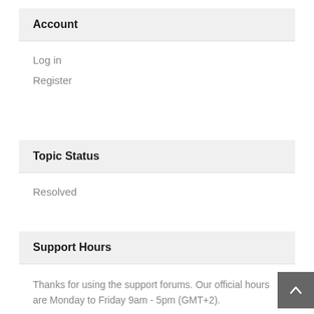Account
Log in
Register
Topic Status
Resolved
Support Hours
Thanks for using the support forums. Our official hours are Monday to Friday 9am - 5pm (GMT+2).